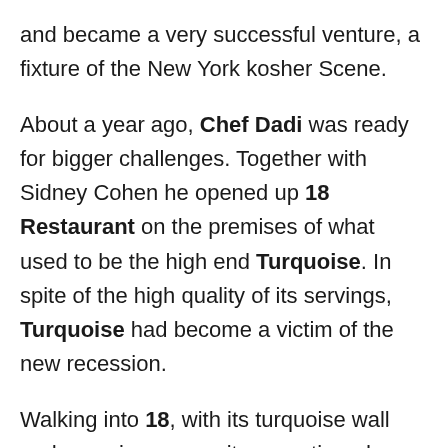and became a very successful venture, a fixture of the New York kosher Scene.
About a year ago, Chef Dadi was ready for bigger challenges. Together with Sidney Cohen he opened up 18 Restaurant on the premises of what used to be the high end Turquoise. In spite of the high quality of its servings, Turquoise had become a victim of the new recession.
Walking into 18, with its turquoise wall and aquarium, opposite an antiqued stone wall and red fixtures, gives the impression of an upscale expensive place. A quick look, however, at the menu immediately dispels the notion of “expensive.” The food served here is of higher quality than at his former place and in the year since they’ve opened they managed to gather a faithful following that fills the